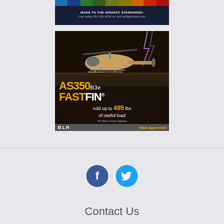[Figure (illustration): Advertisement banner at top: colorful strip of fabric/suit colors at top, text 'MADE TO THE HIGHEST STANDARDS!' and 'Call today 321.321.4724 or visit seflightsuits.com']
[Figure (illustration): BLR Aerospace advertisement featuring AS350 B3e helicopter with lightning in background. Text: 'AS350 B3e FASTFIN® Add up to 485 lbs of useful load *W/ Airbus Power Upgrade. BLR - FAA approved']
[Figure (illustration): Facebook and Twitter social media icons (circular blue icons)]
Contact Us